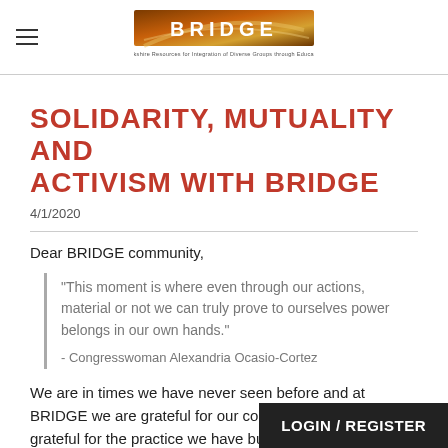BRIDGE — Berkshire Resources for Integration of Diverse Groups through Education
SOLIDARITY, MUTUALITY AND ACTIVISM WITH BRIDGE
4/1/2020
Dear BRIDGE community,
“This moment is where even through our actions, material or not we can truly prove to ourselves power belongs in our own hands.”

- Congresswoman Alexandria Ocasio-Cortez
We are in times we have never seen before and at BRIDGE we are grateful for our community. We are grateful for the practice we have built together to tackle barriers and build resilient …